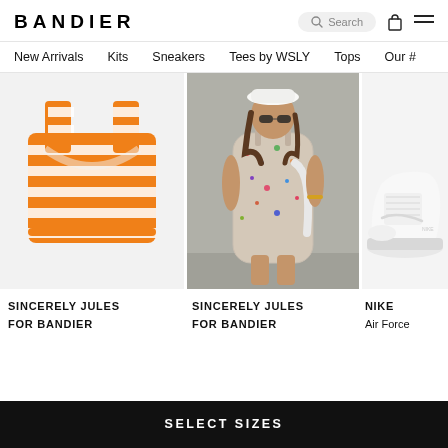BANDIER
New Arrivals  Kits  Sneakers  Tees by WSLY  Tops  Our #
[Figure (photo): Orange and white horizontal stripe sports crop top on light gray background]
[Figure (photo): Woman wearing floral mini dress holding white tote bag, standing against gray wall]
[Figure (photo): Partial view of white Nike sneaker]
SINCERELY JULES FOR BANDIER
SINCERELY JULES FOR BANDIER
NIKE
Air Force
SELECT SIZES